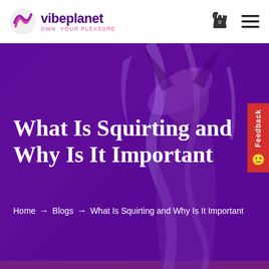[Figure (logo): Vibeplanet logo with pink/purple swirl globe icon and text 'vibeplanet OWN YOUR PLEASURE']
[Figure (photo): Woman with eyes closed, water splashing around her, overlaid with deep purple tint. Used as hero banner background.]
What Is Squirting and Why Is It Important
Home → Blogs → What Is Squirting and Why Is It Important